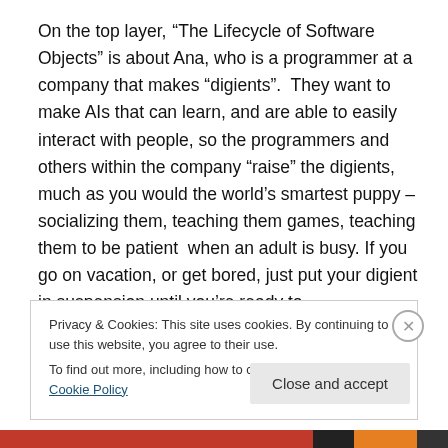On the top layer, “The Lifecycle of Software Objects” is about Ana, who is a programmer at a company that makes “digients”. They want to make AIs that can learn, and are able to easily interact with people, so the programmers and others within the company “raise” the digients, much as you would the world’s smartest puppy – socializing them, teaching them games, teaching them to be patient when an adult is busy. If you go on vacation, or get bored, just put your digient in suspension until you’re ready to
Privacy & Cookies: This site uses cookies. By continuing to use this website, you agree to their use.
To find out more, including how to control cookies, see here: Cookie Policy
Close and accept